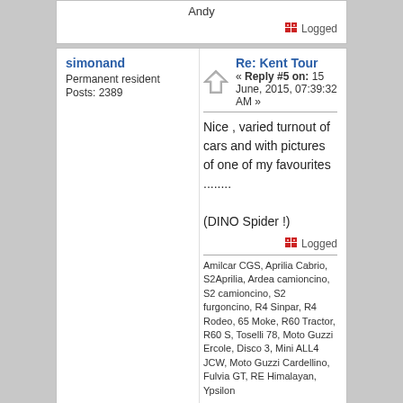Andy
Logged
simonand
Permanent resident
Posts: 2389
Re: Kent Tour
« Reply #5 on: 15 June, 2015, 07:39:32 AM »
Nice , varied turnout of cars and with pictures of one of my favourites ........

(DINO Spider !)
Logged
Amilcar CGS, Aprilia Cabrio, S2Aprilia, Ardea camioncino, S2 camioncino, S2 furgoncino, R4 Sinpar, R4 Rodeo, 65 Moke, R60 Tractor, R60 S, Toselli 78, Moto Guzzi Ercole, Disco 3, Mini ALL4 JCW, Moto Guzzi Cardellino, Fulvia GT, RE Himalayan, Ypsilon
stanley sweet
Lapsed Permanent resident
Posts: 1149
Re: Kent Tour
« Reply #6 on: 15 June, 2015, 08:56:05 AM »
I was going to take the Dino but as you saw it first I suppose I could muddle through with SS Jaguar or the E Type at a push. Like the little Hurricane too, even has working flaps. Very suitable for flying over Kent. Nice mix, looks like a good day out.